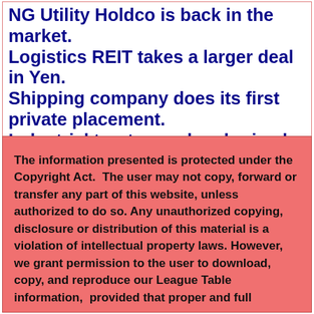NG Utility Holdco is back in the market. Logistics REIT takes a larger deal in Yen. Shipping company does its first private placement. Industrial trust upped and priced, with a Green tranche. Natural gas company makes a quick return. Private People Moves:  BNPP is hiring.
The information presented is protected under the Copyright Act.  The user may not copy, forward or transfer any part of this website, unless authorized to do so. Any unauthorized copying, disclosure or distribution of this material is a violation of intellectual property laws. However, we grant permission to the user to download, copy, and reproduce our League Table information, provided that proper and full